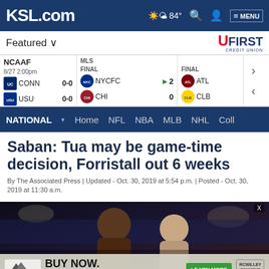KSL.com | 84° | MENU
Featured ∨
[Figure (logo): UFirst Credit Union logo]
| League | Time/Status | Team | Score | Team | Score |
| --- | --- | --- | --- | --- | --- |
| NCAAF | 8/27 2:00pm | CONN | 0-0 | USU | 0-0 |
| MLS | FINAL | NYCFC | 2 | CHI | 0 |
| MLS | FINAL | ATL |  | CLB |  |
NATIONAL | Home | NFL | NBA | MLB | NHL | Coll
Saban: Tua may be game-time decision, Forristall out 6 weeks
By The Associated Press | Updated - Oct. 30, 2019 at 5:54 p.m. | Posted - Oct. 30, 2019 at 11:30 a.m.
[Figure (photo): Two football players in stadium, with RC Willey advertisement overlay: BUY NOW. PAY LATER. with Learn More button]